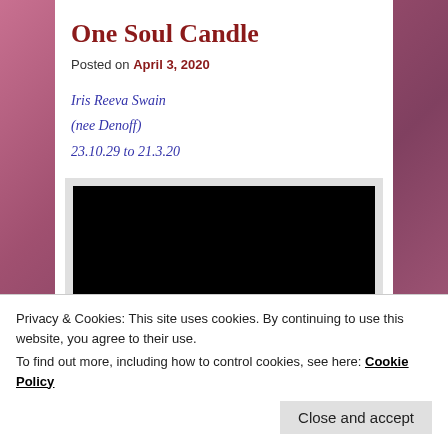One Soul Candle
Posted on April 3, 2020
Iris Reeva Swain
(nee Denoff)
23.10.29 to 21.3.20
[Figure (photo): Black rectangle representing a photo/video thumbnail]
Privacy & Cookies: This site uses cookies. By continuing to use this website, you agree to their use.
To find out more, including how to control cookies, see here: Cookie Policy